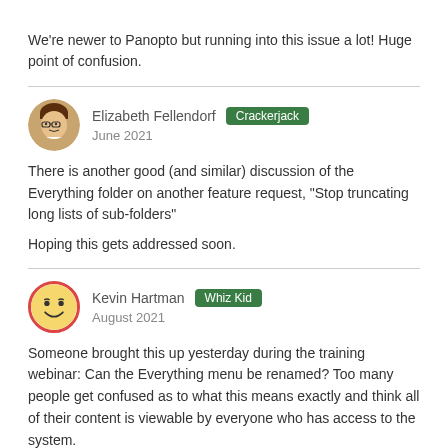We're newer to Panopto but running into this issue a lot! Huge point of confusion.
Elizabeth Fellendorf  Crackerjack
June 2021
There is another good (and similar) discussion of the Everything folder on another feature request, "Stop truncating long lists of sub-folders"

Hoping this gets addressed soon.
Kevin Hartman  Whiz Kid
August 2021
Someone brought this up yesterday during the training webinar: Can the Everything menu be renamed? Too many people get confused as to what this means exactly and think all of their content is viewable by everyone who has access to the system.